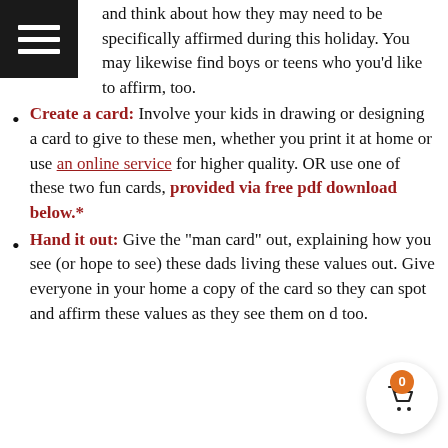Notice the opportunity: Take note of the various men in your life, including fathers, grandparents, uncles, neighbors, and coaches. Pray for insight and think about how they may need to be specifically affirmed during this holiday. You may likewise find boys or teens who you'd like to affirm, too.
Create a card: Involve your kids in drawing or designing a card to give to these men, whether you print it at home or use an online service for higher quality. OR use one of these two fun cards, provided via free pdf download below.*
Hand it out: Give the "man card" out, explaining how you see (or hope to see) these dads living these values out. Give everyone in your home a copy of the card so they can spot and affirm these values as they see them on d... too.